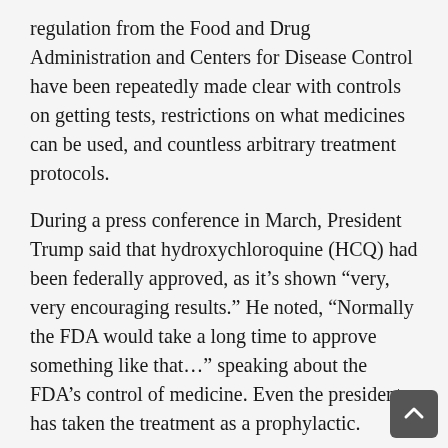regulation from the Food and Drug Administration and Centers for Disease Control have been repeatedly made clear with controls on getting tests, restrictions on what medicines can be used, and countless arbitrary treatment protocols.
During a press conference in March, President Trump said that hydroxychloroquine (HCQ) had been federally approved, as it's shown "very, very encouraging results." He noted, "Normally the FDA would take a long time to approve something like that..." speaking about the FDA's control of medicine. Even the president has taken the treatment as a prophylactic.
Some positive studies were shown using HCQ in combination with azithromycin, and a steroid pack with zinc to combat symptoms of COVID-19. Yet the FDA immediately contradicted Trump's statements, saying it was conducting clinical trials. The South Carolina medical board